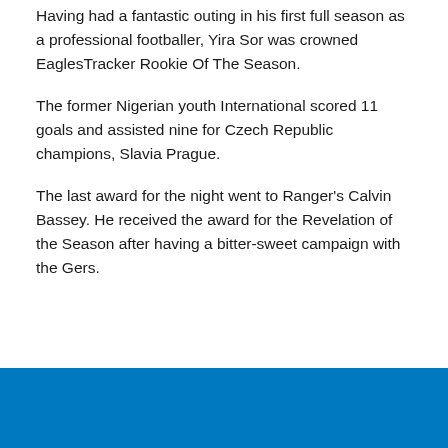Having had a fantastic outing in his first full season as a professional footballer, Yira Sor was crowned EaglesTracker Rookie Of The Season.
The former Nigerian youth International scored 11 goals and assisted nine for Czech Republic champions, Slavia Prague.
The last award for the night went to Ranger's Calvin Bassey. He received the award for the Revelation of the Season after having a bitter-sweet campaign with the Gers.